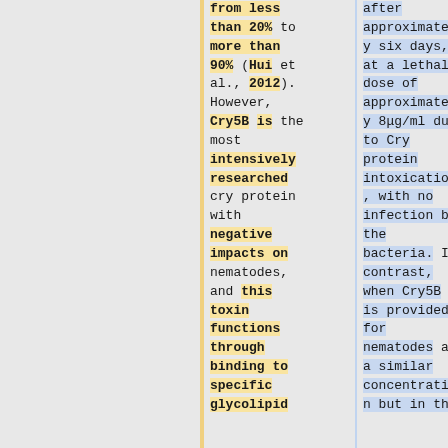from less than 20% to more than 90% (Hui et al., 2012). However, Cry5B is the most intensively researched cry protein with negative impacts on nematodes, and this toxin functions through binding to specific glycolipid
after approximately six days, at a lethal dose of approximately 8μg/ml due to Cry protein intoxication, with no infection by the bacteria. In contrast, when Cry5B is provided for nematodes at a similar concentration but in the